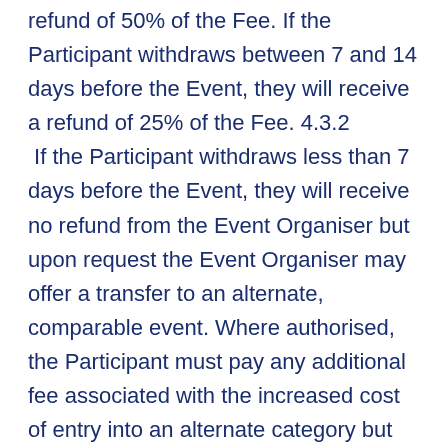refund of 50% of the Fee. If the Participant withdraws between 7 and 14 days before the Event, they will receive a refund of 25% of the Fee. 4.3.2 If the Participant withdraws less than 7 days before the Event, they will receive no refund from the Event Organiser but upon request the Event Organiser may offer a transfer to an alternate, comparable event. Where authorised, the Participant must pay any additional fee associated with the increased cost of entry into an alternate category but will not be entitled to any refund where the fee for entry into the alternate event is less than that for which the Participant originally registered. The Event Organiser